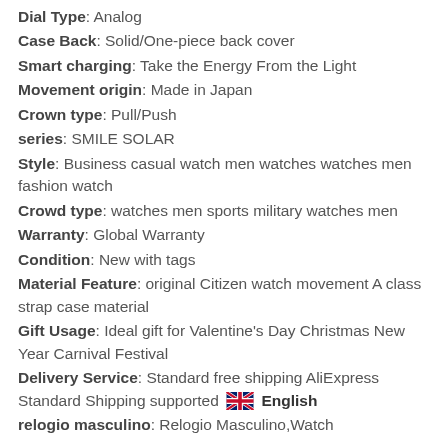Dial Type: Analog
Case Back: Solid/One-piece back cover
Smart charging: Take the Energy From the Light
Movement origin: Made in Japan
Crown type: Pull/Push
series: SMILE SOLAR
Style: Business casual watch men watches watches men fashion watch
Crowd type: watches men sports military watches men
Warranty: Global Warranty
Condition: New with tags
Material Feature: original Citizen watch movement A class strap case material
Gift Usage: Ideal gift for Valentine's Day Christmas New Year Carnival Festival
Delivery Service: Standard free shipping AliExpress Standard Shipping supported [UK flag] English
relogio masculino: Relogio Masculino,Watch